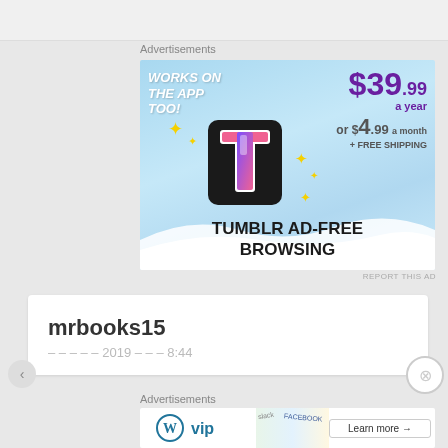Advertisements
[Figure (infographic): Tumblr Ad-Free Browsing advertisement banner. Sky blue background with clouds. Text: 'WORKS ON THE APP TOO!' in white italic bold. Price: $39.99 a year or $4.99 a month + FREE SHIPPING. Tumblr 't' logo in center with yellow sparkles. Bottom text: 'TUMBLR AD-FREE BROWSING']
REPORT THIS AD
mrbooks15
Advertisements
[Figure (infographic): WordPress VIP advertisement with logo and 'Learn more' button, background showing overlapping cards/documents with slack, Facebook logos]